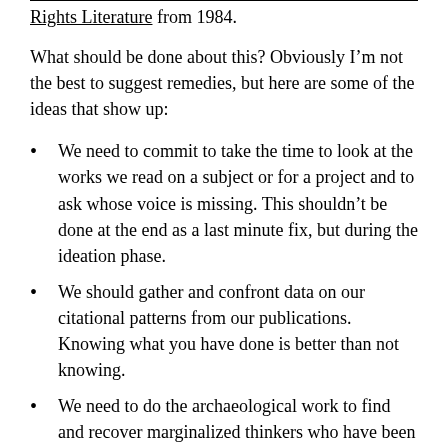Rights Literature from 1984.
What should be done about this? Obviously I'm not the best to suggest remedies, but here are some of the ideas that show up:
We need to commit to take the time to look at the works we read on a subject or for a project and to ask whose voice is missing. This shouldn't be done at the end as a last minute fix, but during the ideation phase.
We should gather and confront data on our citational patterns from our publications. Knowing what you have done is better than not knowing.
We need to do the archaeological work to find and recover marginalized thinkers who have been left out and reflect on why they were left